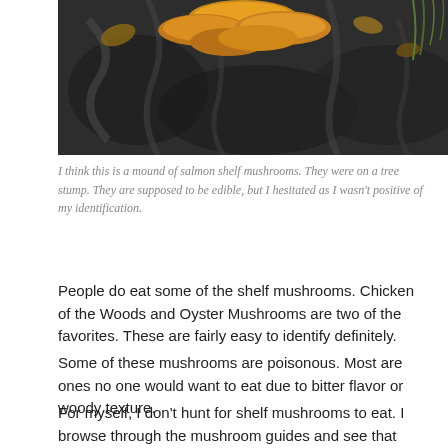[Figure (photo): Close-up photo of salmon shelf mushrooms on a dark tree stump, with yellow-orange mushrooms and dried leaves visible against dark bark.]
I think this is a mound of salmon shelf mushrooms. They were on a tree stump. They are supposed to be edible, but I hesitated as I wasn't positive of my identification.
People do eat some of the shelf mushrooms. Chicken of the Woods and Oyster Mushrooms are two of the favorites. These are fairly easy to identify definitely.
Some of these mushrooms are poisonous. Most are ones no one would want to eat due to bitter flavor or woody texture.
For myself, I don't hunt for shelf mushrooms to eat. I browse through the mushroom guides and see that many of the edible ones are too easy to confuse with others listed as not edible.